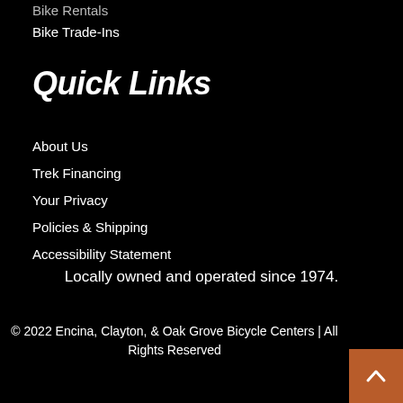Bike Rentals
Bike Trade-Ins
Quick Links
About Us
Trek Financing
Your Privacy
Policies & Shipping
Accessibility Statement
Locally owned and operated since 1974.
© 2022 Encina, Clayton, & Oak Grove Bicycle Centers | All Rights Reserved